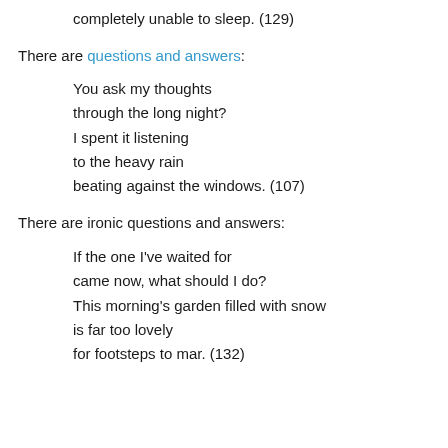completely unable to sleep. (129)
There are questions and answers:
You ask my thoughts
through the long night?
I spent it listening
to the heavy rain
beating against the windows. (107)
There are ironic questions and answers:
If the one I've waited for
came now, what should I do?
This morning's garden filled with snow
is far too lovely
for footsteps to mar. (132)